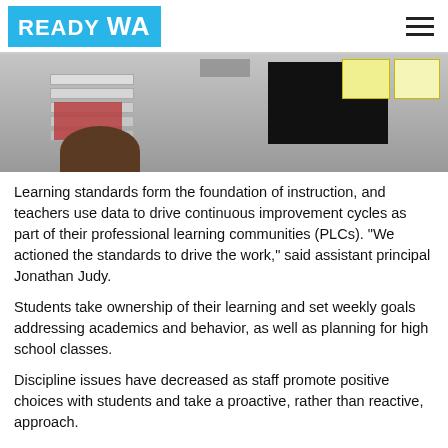READY WA
[Figure (photo): Classroom scene showing filing trays, a black monitor, and a person seated at a desk with sticky notes on the wall in the background.]
Learning standards form the foundation of instruction, and teachers use data to drive continuous improvement cycles as part of their professional learning communities (PLCs). “We actioned the standards to drive the work,” said assistant principal Jonathan Judy.
Students take ownership of their learning and set weekly goals addressing academics and behavior, as well as planning for high school classes.
Discipline issues have decreased as staff promote positive choices with students and take a proactive, rather than reactive, approach.